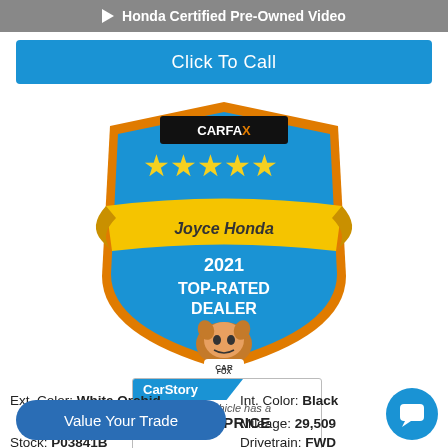[Figure (screenshot): Gray bar with play icon and text Honda Certified Pre-Owned Video]
Click To Call
[Figure (logo): CARFAX 5-star badge for Joyce Honda 2021 Top-Rated Dealer with Car Fox mascot]
[Figure (infographic): CarStory box: This vehicle has a FAIR PRICE]
Ext. Color: White Orchid   Int. Color: Black
Mileage: 29,509
Stock: P03841B   Drivetrain: FWD
[Figure (other): Value Your Trade blue pill button]
[Figure (other): Chat bubble icon button]